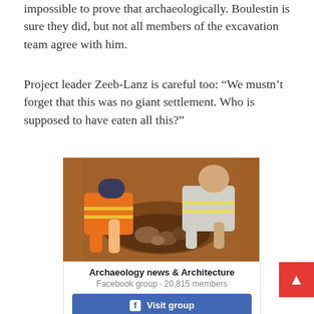impossible to prove that archaeologically. Boulestin is sure they did, but not all members of the excavation team agree with him.
Project leader Zeeb-Lanz is careful too: “We mustn’t forget that this was no giant settlement. Who is supposed to have eaten all this?”
[Figure (photo): Two archaeologists in orange high-visibility vests crouching over an excavation pit in reddish-brown soil, examining artefacts.]
Archaeology news & Architecture
Facebook group · 20,815 members
Visit group
Archaeology News Network is a leading online